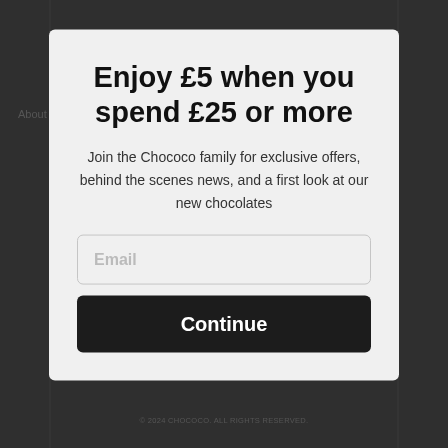Enjoy £5 when you spend £25 or more
Join the Chococo family for exclusive offers, behind the scenes news, and a first look at our new chocolates
Email
Continue